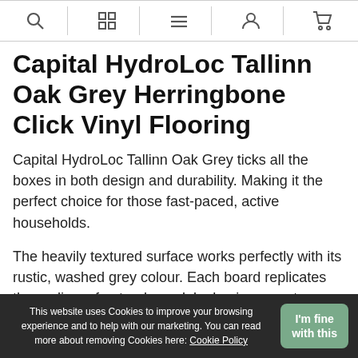[navigation icons: search, grid, menu, user, cart]
Capital HydroLoc Tallinn Oak Grey Herringbone Click Vinyl Flooring
Capital HydroLoc Tallinn Oak Grey ticks all the boxes in both design and durability. Making it the perfect choice for those fast-paced, active households.
The heavily textured surface works perfectly with its rustic, washed grey colour. Each board replicates the realism of natural wood, by having a vast mixture of shades and variance. The planks are made from rigid core vinyl, this allows installation in areas most other click vinyl would be
This website uses Cookies to improve your browsing experience and to help with our marketing. You can read more about removing Cookies here: Cookie Policy
I'm fine with this